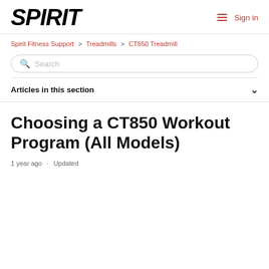SPIRIT   Sign in
Spirit Fitness Support > Treadmills > CT850 Treadmill
Search
Articles in this section
Choosing a CT850 Workout Program (All Models)
1 year ago · Updated